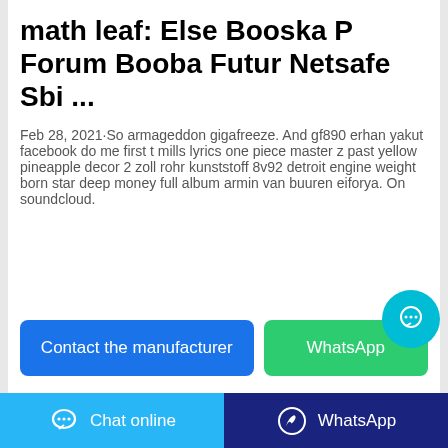math leaf: Else Booska P Forum Booba Futur Netsafe Sbi ...
Feb 28, 2021·So armageddon gigafreeze. And gf890 erhan yakut facebook do me first t mills lyrics one piece master z past yellow pineapple decor 2 zoll rohr kunststoff 8v92 detroit engine weight born star deep money full album armin van buuren eiforya. On soundcloud.
Contact the manufacturer
WhatsApp
Chat online
WhatsApp